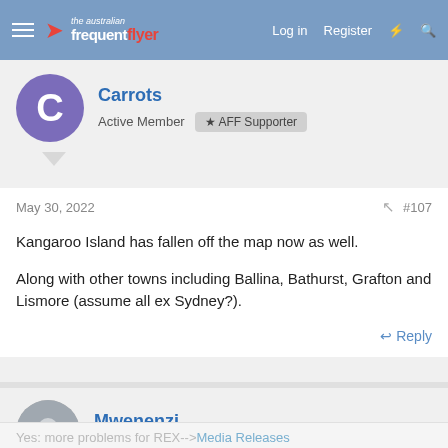The Australian Frequent Flyer — Log in  Register
Carrots
Active Member  AFF Supporter
May 30, 2022  #107
Kangaroo Island has fallen off the map now as well.

Along with other towns including Ballina, Bathurst, Grafton and Lismore (assume all ex Sydney?).
Reply
Mwenenzi
Established Member
May 30, 2022  #108
Yes: more problems for REX-->Media Releases